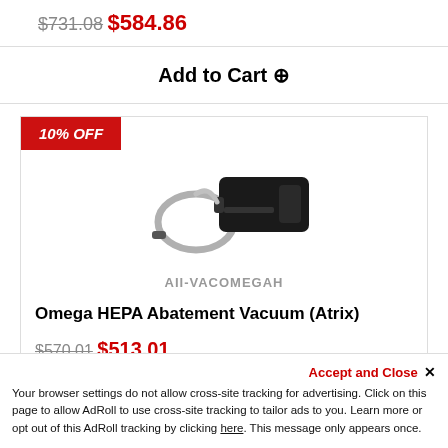$731.08 $584.86
Add to Cart ➕
10% OFF
[Figure (photo): Product photo of Omega HEPA Abatement Vacuum (Atrix) — a black rectangular device with a grey flexible hose loop attached.]
AII-VACOMEGAH
Omega HEPA Abatement Vacuum (Atrix)
$570.01 $513.01
Accept and Close ✕
Your browser settings do not allow cross-site tracking for advertising. Click on this page to allow AdRoll to use cross-site tracking to tailor ads to you. Learn more or opt out of this AdRoll tracking by clicking here. This message only appears once.